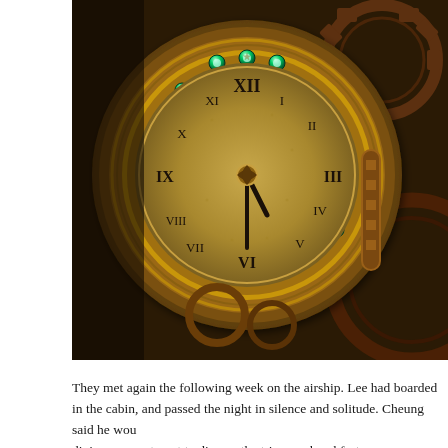[Figure (photo): A detailed steampunk-style mechanical clock with Roman numerals on a golden/brass face, surrounded by intricate gears, cogs, pipes, and green gemstone decorations. The clock hands point to approximately 6:30. The entire piece is rendered in warm bronze and copper tones with rust accents.]
They met again the following week on the airship. Lee had boarded in the cabin, and passed the night in silence and solitude. Cheung said he would dining compartment to discuss the trip over breakfast.